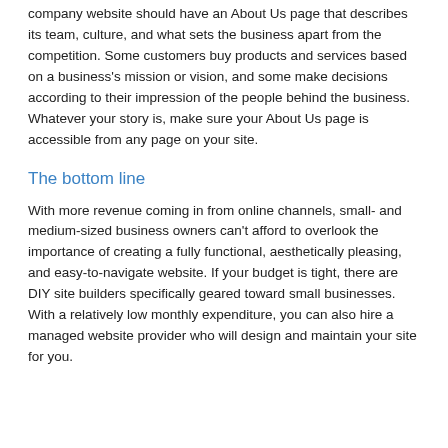company website should have an About Us page that describes its team, culture, and what sets the business apart from the competition. Some customers buy products and services based on a business's mission or vision, and some make decisions according to their impression of the people behind the business. Whatever your story is, make sure your About Us page is accessible from any page on your site.
The bottom line
With more revenue coming in from online channels, small- and medium-sized business owners can't afford to overlook the importance of creating a fully functional, aesthetically pleasing, and easy-to-navigate website. If your budget is tight, there are DIY site builders specifically geared toward small businesses. With a relatively low monthly expenditure, you can also hire a managed website provider who will design and maintain your site for you.